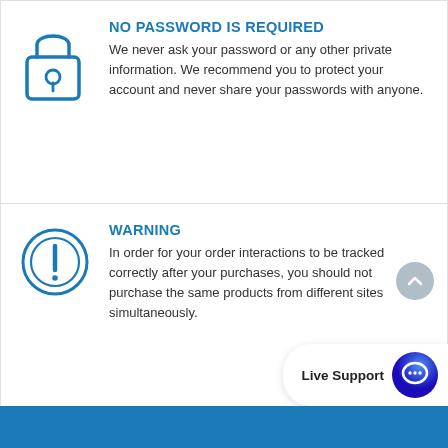NO PASSWORD IS REQUIRED
We never ask your password or any other private information. We recommend you to protect your account and never share your passwords with anyone.
WARNING
In order for your order interactions to be tracked correctly after your purchases, you should not purchase the same products from different sites simultaneously.
Live Support